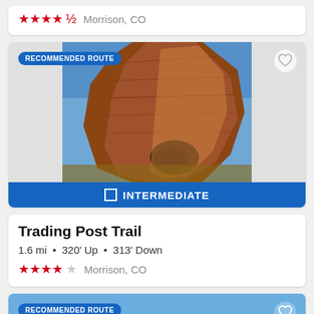[Figure (screenshot): Partial trail card showing 4.5 red stars rating and Morrison, CO location text]
[Figure (photo): Red rock formation close-up photo with blue sky background at Red Rocks / Morrison CO area. Badge: RECOMMENDED ROUTE. Difficulty level: INTERMEDIATE (blue bar). Heart/favorite icon top right.]
Trading Post Trail
1.6 mi • 320' Up • 313' Down
★★★★☆ Morrison, CO
[Figure (photo): Landscape panoramic photo of mountain range with brown/tan terrain under blue sky. Badge: RECOMMENDED ROUTE. Heart/favorite icon top right.]